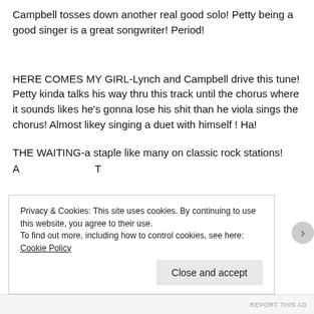Campbell tosses down another real good solo! Petty being a good singer is a great songwriter! Period!
HERE COMES MY GIRL-Lynch and Campbell drive this tune! Petty kinda talks his way thru this track until the chorus where it sounds likes he's gonna lose his shit than he viola sings the chorus! Almost likey singing a duet with himself ! Ha!
THE WAITING-a staple like many on classic rock stations!
Privacy & Cookies: This site uses cookies. By continuing to use this website, you agree to their use.
To find out more, including how to control cookies, see here: Cookie Policy
Close and accept
REPORT THIS AD